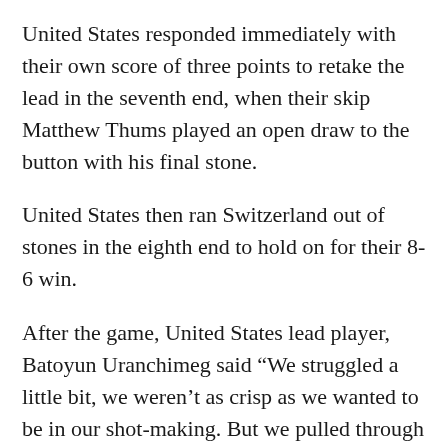United States responded immediately with their own score of three points to retake the lead in the seventh end, when their skip Matthew Thums played an open draw to the button with his final stone.
United States then ran Switzerland out of stones in the eighth end to hold on for their 8-6 win.
After the game, United States lead player, Batoyun Uranchimeg said “We struggled a little bit, we weren’t as crisp as we wanted to be in our shot-making. But we pulled through it and I’m pretty happy with the result.
“We have a great camaraderie with each other and encourage each other. Whenever we make…